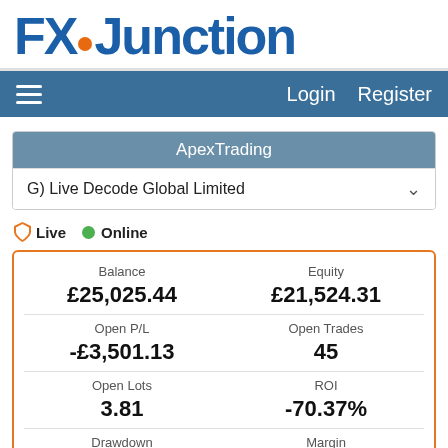[Figure (logo): FXJunction logo with orange dot between FX and Junction, blue bold text]
Login  Register
ApexTrading
G) Live Decode Global Limited
Live  Online
| Balance | Equity |
| --- | --- |
| £25,025.44 | £21,524.31 |
| Open P/L | Open Trades |
| -£3,501.13 | 45 |
| Open Lots | ROI |
| 3.81 | -70.37% |
| Drawdown | Margin |